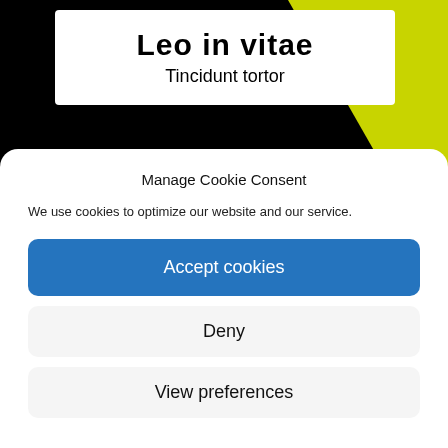Leo in vitae
Tincidunt tortor
Mi sit amet
Tincidunt tortor
Manage Cookie Consent
We use cookies to optimize our website and our service.
Accept cookies
Deny
View preferences